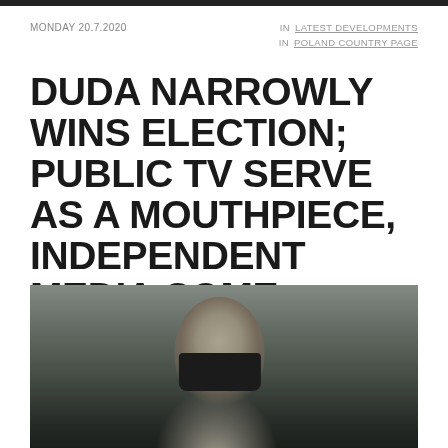MONDAY 20.7.2020   IN LATEST DEVELOPMENTS IN POLAND COUNTRY PAGE
DUDA NARROWLY WINS ELECTION; PUBLIC TV SERVE AS A MOUTHPIECE, INDEPENDENT MEDIA COME UNDER ATTACK
[Figure (photo): A man wearing a black face mask, photographed indoors, visible from shoulders up, with a blurred background]